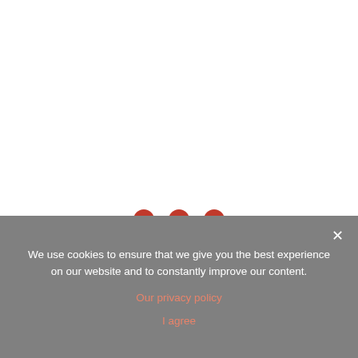[Figure (other): Three red filled circles arranged horizontally, indicating a loading spinner or ellipsis animation]
We use cookies to ensure that we give you the best experience on our website and to constantly improve our content.
Our privacy policy
I agree